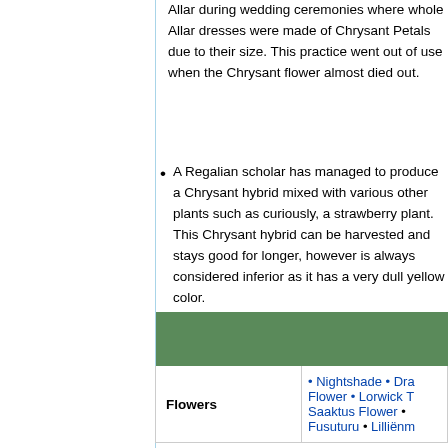Allar during wedding ceremonies where whole Allar dresses were made of Chrysant Petals due to their size. This practice went out of use when the Chrysant flower almost died out.
A Regalian scholar has managed to produce a Chrysant hybrid mixed with various other plants such as curiously, a strawberry plant. This Chrysant hybrid can be harvested and stays good for longer, however is always considered inferior as it has a very dull yellow color.
| Flowers |  |
| --- | --- |
| Flowers | • Nightshade • Dra... Flower • Lorwick T... Saaktus Flower • ... Fusuturu • Lilliënm... |